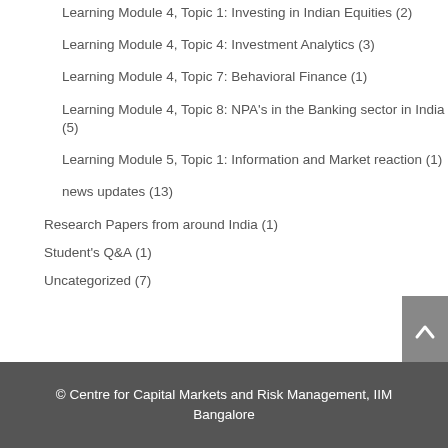Learning Module 4, Topic 1: Investing in Indian Equities (2)
Learning Module 4, Topic 4: Investment Analytics (3)
Learning Module 4, Topic 7: Behavioral Finance (1)
Learning Module 4, Topic 8: NPA's in the Banking sector in India (5)
Learning Module 5, Topic 1: Information and Market reaction (1)
news updates (13)
Research Papers from around India (1)
Student's Q&A (1)
Uncategorized (7)
© Centre for Capital Markets and Risk Management, IIM Bangalore